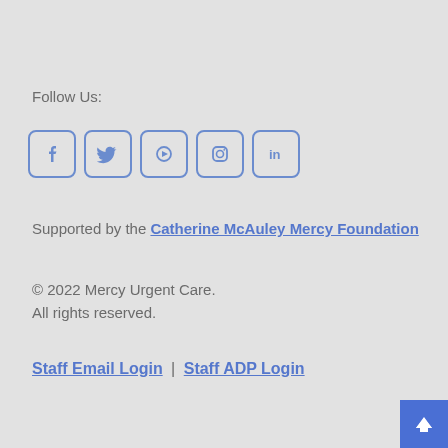Follow Us:
[Figure (illustration): Five social media icons in rounded square outlines: Facebook, Twitter, YouTube, Instagram, LinkedIn]
Supported by the Catherine McAuley Mercy Foundation
© 2022 Mercy Urgent Care.
All rights reserved.
Staff Email Login | Staff ADP Login
[Figure (illustration): Blue scroll-to-top arrow button in bottom right corner]